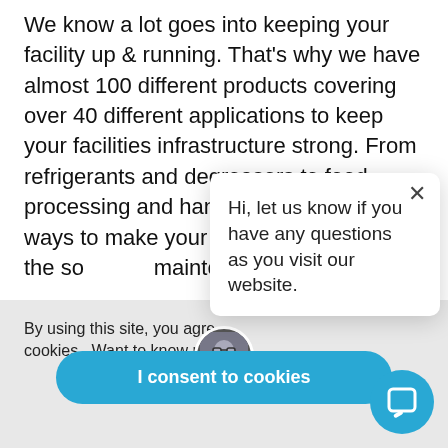We know a lot goes into keeping your facility up & running. That's why we have almost 100 different products covering over 40 different applications to keep your facilities infrastructure strong. From refrigerants and degreasers to food processing and hand sanitizers, we have ways to make your job easier. Explore the so[lutions to your] maintenance problems [below].
By using this site, you agre[e to our use of] cookies.  Want to know mo[re?]
I consent to cookies
Hi, let us know if you have any questions as you visit our website.